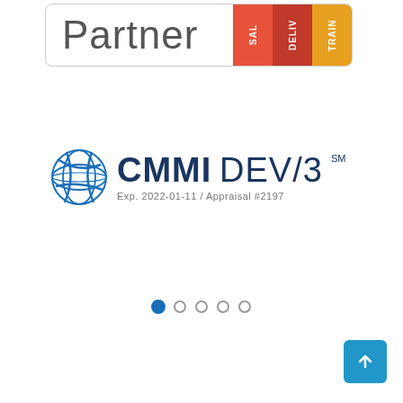[Figure (logo): Partner badge with colored tags for SALES, DELIVERY, TRAINING on the right side]
[Figure (logo): CMMI DEV/3 certification logo with globe icon. Text: CMMIDEV/3 SM, Exp. 2022-01-11 / Appraisal #2197]
[Figure (infographic): Navigation dots: 5 dots with the first one active/filled in blue]
[Figure (infographic): Scroll-up arrow button in teal/blue at bottom right]